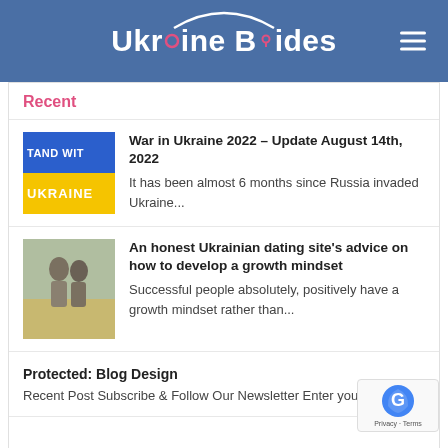Ukraine Brides
Recent
War in Ukraine 2022 – Update August 14th, 2022
It has been almost 6 months since Russia invaded Ukraine...
An honest Ukrainian dating site's advice on how to develop a growth mindset
Successful people absolutely, positively have a growth mindset rather than...
Protected: Blog Design
Recent Post Subscribe & Follow Our Newsletter Enter your email...
Privacy · Terms